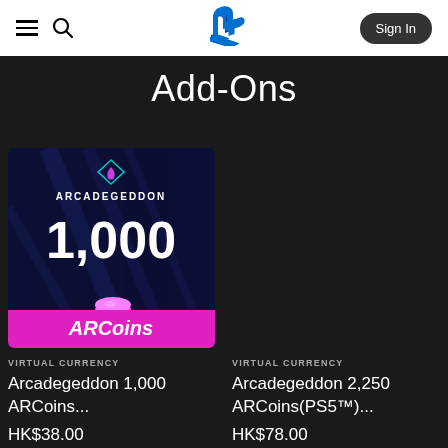PlayStation Store header with menu, search, PS logo, and Sign In button
Add-Ons
[Figure (photo): Arcadegeddon 1,000 ARCoins virtual currency pack product image with pink coins and ARCoins label on dark blue background]
VIRTUAL CURRENCY
Arcadegeddon 1,000 ARCoins...
HK$38.00
VIRTUAL CURRENCY
Arcadegeddon 2,250 ARCoins(PS5™)...
HK$78.00